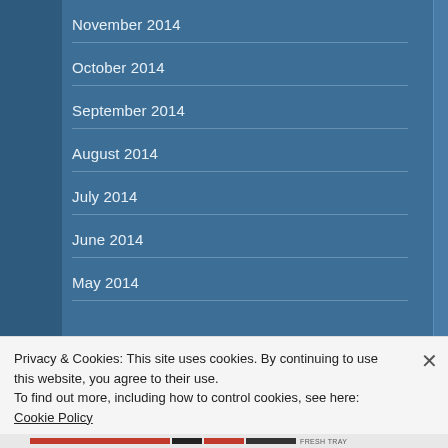November 2014
October 2014
September 2014
August 2014
July 2014
June 2014
May 2014
Privacy & Cookies: This site uses cookies. By continuing to use this website, you agree to their use.
To find out more, including how to control cookies, see here: Cookie Policy
Close and accept